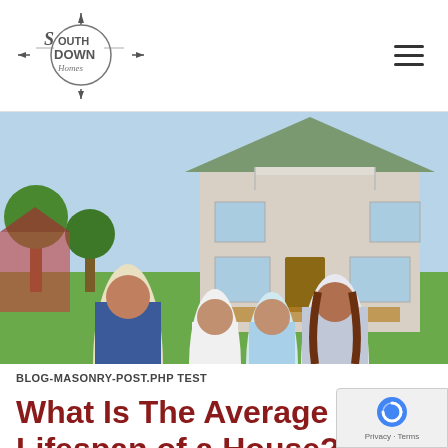Southdown Homes
[Figure (photo): A family of four (two adults and two children) seen from behind, holding hands and looking at a large white suburban house with green lawn and trees.]
BLOG-MASONRY-POST.PHP TEST
What Is The Average Lifespan of a House?